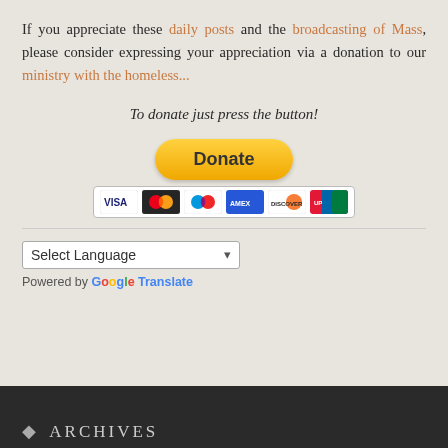If you appreciate these daily posts and the broadcasting of Mass, please consider expressing your appreciation via a donation to our ministry with the homeless...
To donate just press the button!
[Figure (other): PayPal Donate button with payment card icons (Visa, Mastercard, Maestro, Amex, Discover, UnionPay)]
[Figure (screenshot): Google Translate language selector widget showing 'Select Language' dropdown and 'Powered by Google Translate' text]
Archives